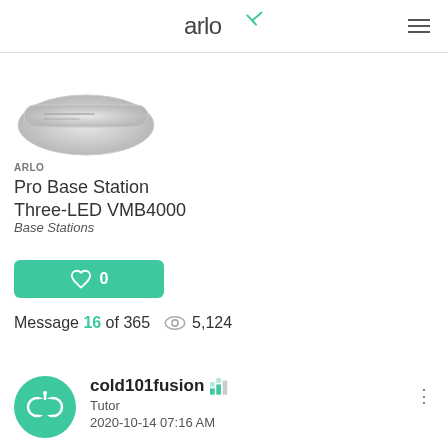arlo
[Figure (photo): Arlo Pro Base Station Three-LED VMB4000 product image - white/grey elongated device]
ARLO
Pro Base Station Three-LED VMB4000
Base Stations
0
Message 16 of 365   5,124
cold101fusion
Tutor
2020-10-14 07:16 AM